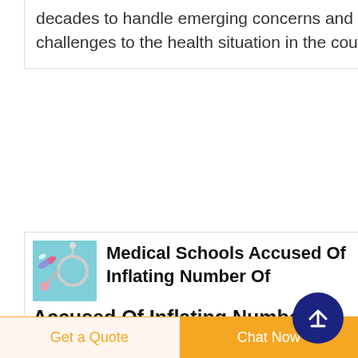decades to handle emerging concerns and challenges to the health situation in the country.
Medical Schools Accused Of Inflating Number Of
Medical Schools Accused Of Inflating Number Of Graduating Primary Care Doctors Medical schools say they are graduating more primary care doctors than
[Figure (illustration): Small thumbnail image of medical stethoscope and equipment on blue background]
[Figure (other): Dark navy blue circle with white upward arrow icon, scroll-to-top button]
Get a Quote
Chat Now